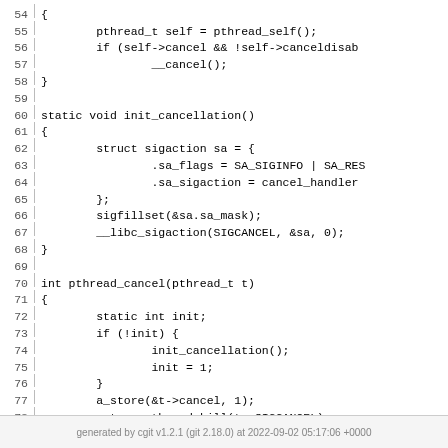[Figure (screenshot): Source code listing showing C code for pthread cancellation functions, lines 54-79, with line numbers on left separated by a vertical bar.]
generated by cgit v1.2.1 (git 2.18.0) at 2022-09-02 05:17:06 +0000